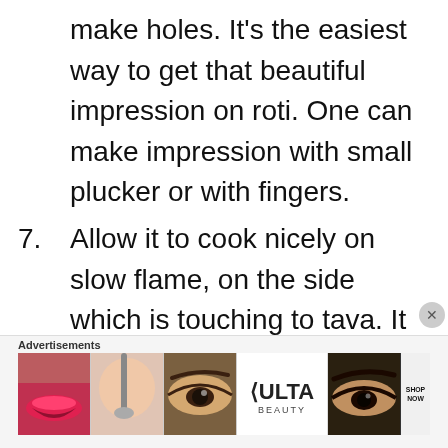make holes. It's the easiest way to get that beautiful impression on roti. One can make impression with small plucker or with fingers.
7. Allow it to cook nicely on slow flame, on the side which is touching to tava. It should turn crispy
Advertisements
[Figure (other): Ulta Beauty advertisement banner showing close-up images of lips, makeup brush, eye with eyebrow, Ulta logo, another eye, and SHOP NOW text]